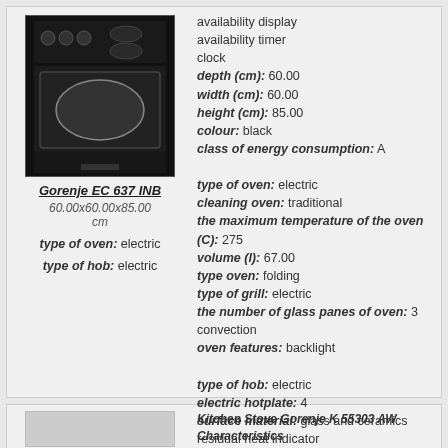[Figure (photo): Black Gorenje EC 637 INB electric cooker/range appliance photo]
Gorenje EC 637 INB
60.00x60.00x85.00 cm
type of oven: electric
type of hob: electric
availability display
availability timer
clock
depth (cm): 60.00
width (cm): 60.00
height (cm): 85.00
colour: black
class of energy consumption: A

type of oven: electric
cleaning oven: traditional
the maximum temperature of the oven (C): 275
volume (l): 67.00
type oven: folding
type of grill: electric
the number of glass panes of oven: 3
convection
oven features: backlight

type of hob: electric
electric hotplate: 4
surface material: glass and ceramics
residual heat indicator
more information
Kitchen Stove Gorenje K 55303 AW Characteristics
manufacturer: Gorenje
management cooker: electronic
switches: slewing
electric ignition: hob
type of electric ignition: auto